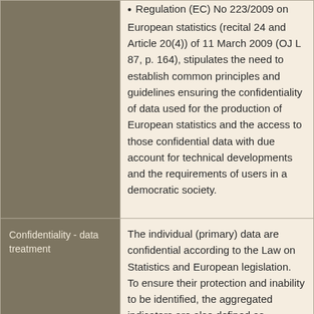Regulation (EC) No 223/2009 on European statistics (recital 24 and Article 20(4)) of 11 March 2009 (OJ L 87, p. 164), stipulates the need to establish common principles and guidelines ensuring the confidentiality of data used for the production of European statistics and the access to those confidential data with due account for technical developments and the requirements of users in a democratic society.
The individual (primary) data are confidential according to the Law on Statistics and European legislation. To ensure their protection and inability to be identified, the aggregated indicators are also defined as confidential when the indicator is calculated from one or two enterprises or one enterprise formed more than 85% of the total value of this indicator.
Release policy